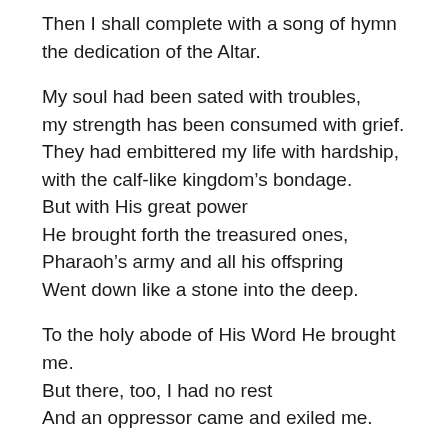Then I shall complete with a song of hymn the dedication of the Altar.
My soul had been sated with troubles, my strength has been consumed with grief. They had embittered my life with hardship, with the calf-like kingdom's bondage. But with His great power He brought forth the treasured ones, Pharaoh's army and all his offspring Went down like a stone into the deep.
To the holy abode of His Word He brought me. But there, too, I had no rest And an oppressor came and exiled me.